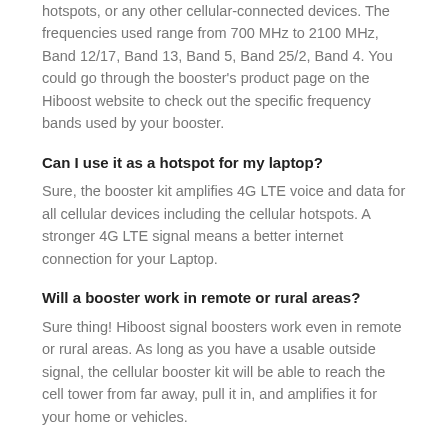hotspots, or any other cellular-connected devices. The frequencies used range from 700 MHz to 2100 MHz, Band 12/17, Band 13, Band 5, Band 25/2, Band 4. You could go through the booster's product page on the Hiboost website to check out the specific frequency bands used by your booster.
Can I use it as a hotspot for my laptop?
Sure, the booster kit amplifies 4G LTE voice and data for all cellular devices including the cellular hotspots. A stronger 4G LTE signal means a better internet connection for your Laptop.
Will a booster work in remote or rural areas?
Sure thing! Hiboost signal boosters work even in remote or rural areas. As long as you have a usable outside signal, the cellular booster kit will be able to reach the cell tower from far away, pull it in, and amplifies it for your home or vehicles.
Will it work with 5G?
All Hiboost cellular signal boosters are compatible with 5G...